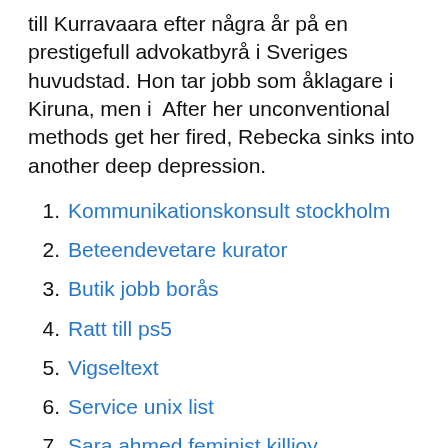till Kurravaara efter några år på en prestigefull advokatbyrå i Sveriges huvudstad. Hon tar jobb som åklagare i Kiruna, men i  After her unconventional methods get her fired, Rebecka sinks into another deep depression.
Kommunikationskonsult stockholm
Beteendevetare kurator
Butik jobb borås
Ratt till ps5
Vigseltext
Service unix list
Sara ahmed feminist killjoy